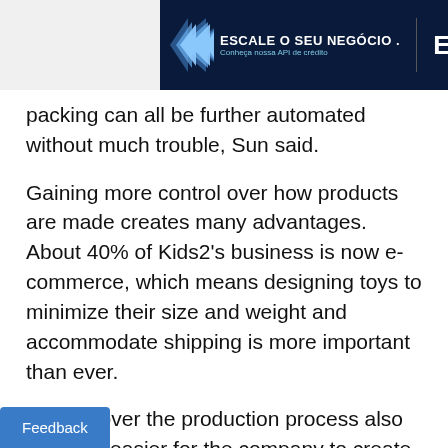[Figure (other): EBANX advertisement banner with chevron arrows and text 'ESCALE O SEU NEGÓCIO' and 'Conheça nossa API de crédito']
packing can all be further automated without much trouble, Sun said.
Gaining more control over how products are made creates many advantages. About 40% of Kids2's business is now e-commerce, which means designing toys to minimize their size and weight and accommodate shipping is more important than ever.
Control over the production process also makes it easier for the company to create products that rely on common parts, which drives down tooling and other costs. For example, the plastic cradles in Kids2's sw… highchairs are made using the same